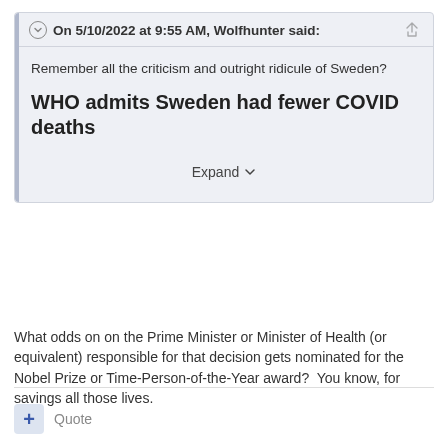On 5/10/2022 at 9:55 AM, Wolfhunter said:
Remember all the criticism and outright ridicule of Sweden?
WHO admits Sweden had fewer COVID deaths
Expand
What odds on on the Prime Minister or Minister of Health (or equivalent) responsible for that decision gets nominated for the Nobel Prize or Time-Person-of-the-Year award?  You know, for savings all those lives.
Quote